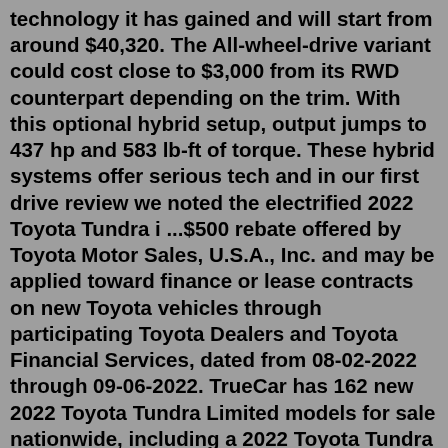technology it has gained and will start from around $40,320. The All-wheel-drive variant could cost close to $3,000 from its RWD counterpart depending on the trim. With this optional hybrid setup, output jumps to 437 hp and 583 lb-ft of torque. These hybrid systems offer serious tech and in our first drive review we noted the electrified 2022 Toyota Tundra i ...$500 rebate offered by Toyota Motor Sales, U.S.A., Inc. and may be applied toward finance or lease contracts on new Toyota vehicles through participating Toyota Dealers and Toyota Financial Services, dated from 08-02-2022 through 09-06-2022. TrueCar has 162 new 2022 Toyota Tundra Limited models for sale nationwide, including a 2022 Toyota Tundra Limited Double Cab 6.5' Bed 3.5L 4WD and a 2022 Toyota Tundra Limited CrewMax 6.5' Bed 3.5L 4WD. Prices for a new 2022 Toyota Tundra Limited currently range from $52,479 to $64,464. Find new 2022 Toyota Tundra Limited inventory at a TrueCar ... Toyota Toyota Tundra 2022 Toyota Tundra 2022 Toyota